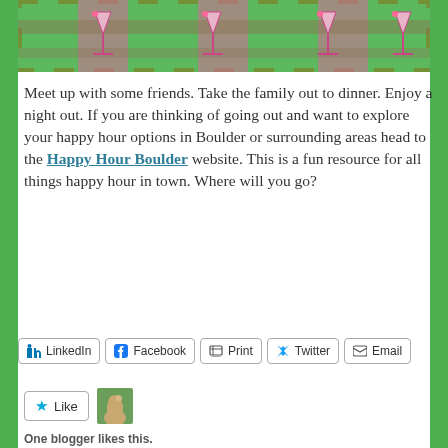[Figure (illustration): Banner image showing cocktail glasses on a plaid green and pink background]
Meet up with some friends. Take the family out to dinner. Enjoy a night out. If you are thinking of going out and want to explore your happy hour options in Boulder or surrounding areas head to the Happy Hour Boulder website. This is a fun resource for all things happy hour in town. Where will you go?
[Figure (infographic): Social share buttons: LinkedIn, Facebook, Print, Twitter, Email]
[Figure (infographic): Like button with star icon and avatar thumbnail. Text: One blogger likes this.]
Tagged Boulder, Colorado, Drinks, food, Foodie, Friends, Happy Hour, Restaurant
Leave a comment